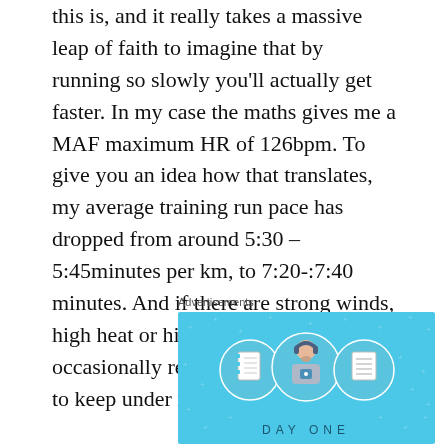this is, and it really takes a massive leap of faith to imagine that by running so slowly you'll actually get faster. In my case the maths gives me a MAF maximum HR of 126bpm. To give you an idea how that translates, my average training run pace has dropped from around 5:30 – 5:45minutes per km, to 7:20-:7:40 minutes. And if there are strong winds, high heat or hills it gets worse, with it occasionally requiring I walk the hills to keep under my ascribed heart rate.
Advertisements
[Figure (illustration): Day One app advertisement on a blue background featuring three circular icons (notebook, person with headphones holding a device, and a lined notepad) with 'DAY ONE' text at the bottom in spaced letters.]